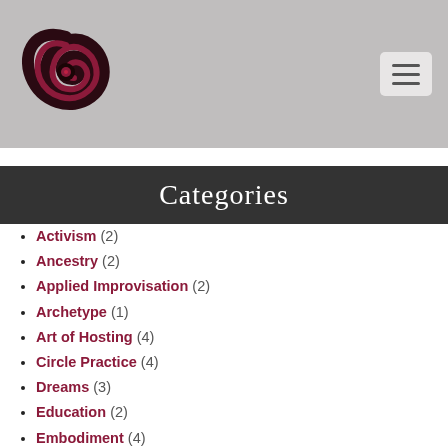[Figure (logo): Swirling dark red and black logo with spiral feather/wing design]
Categories
Activism (2)
Ancestry (2)
Applied Improvisation (2)
Archetype (1)
Art of Hosting (4)
Circle Practice (4)
Dreams (3)
Education (2)
Embodiment (4)
Evaluation (6)
Focus Groups (1)
Group Dynamics (6)
Joy (1)
Meditation (6)